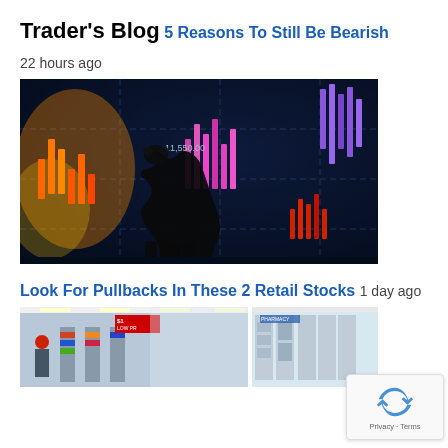Trader's Blog
5 Reasons To Still Be Bearish
22 hours ago
[Figure (photo): Silhouette of a bear in front of a glowing stock market chart display with colorful candlestick bars in pink, purple, and orange tones on a dark blue background]
Look For Pullbacks In These 2 Retail Stocks
1 day ago
[Figure (photo): Side-by-side image of two retail store interiors: left side shows a busy discount store aisle with a person in a red hat, right side shows a pharmacy/electronics retail display area]